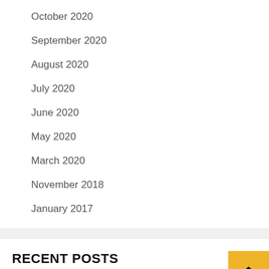October 2020
September 2020
August 2020
July 2020
June 2020
May 2020
March 2020
November 2018
January 2017
RECENT POSTS
Do Latex Waist Trainers Actually Work?
Finest Electronics